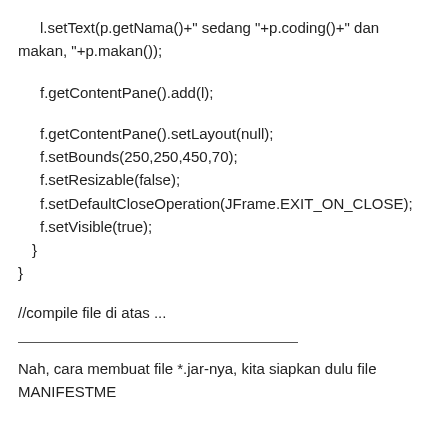l.setText(p.getNama()+" sedang "+p.coding()+" dan makan, "+p.makan());
f.getContentPane().add(l);
f.getContentPane().setLayout(null);
f.setBounds(250,250,450,70);
f.setResizable(false);
f.setDefaultCloseOperation(JFrame.EXIT_ON_CLOSE);
f.setVisible(true);
  }
}
//compile file di atas ...
Nah, cara membuat file *.jar-nya, kita siapkan dulu file MANIFESTME